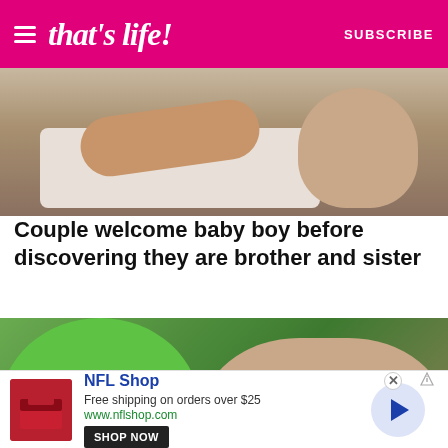that's life! SUBSCRIBE
[Figure (photo): Photo of a sleeping person, showing an arm resting on a pillow]
Couple welcome baby boy before discovering they are brother and sister
[Figure (photo): A child wearing a green dinosaur/frog costume with a pacifier next to an adult woman's face]
[Figure (infographic): Advertisement for NFL Shop: Free shipping on orders over $25. www.nflshop.com. SHOP NOW button. Navigation arrow circle on right side.]